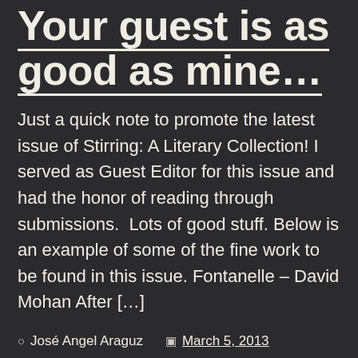Your guest is as good as mine…
Just a quick note to promote the latest issue of Stirring: A Literary Collection! I served as Guest Editor for this issue and had the honor of reading through submissions.  Lots of good stuff. Below is an example of some of the fine work to be found in this issue. Fontanelle – David Mohan After […]
José Angel Araguz   March 5, 2013